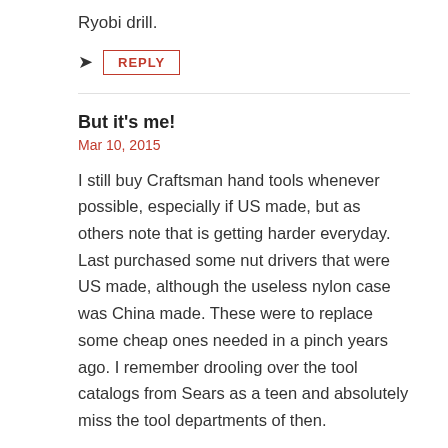Ryobi drill.
REPLY
But it's me!
Mar 10, 2015
I still buy Craftsman hand tools whenever possible, especially if US made, but as others note that is getting harder everyday. Last purchased some nut drivers that were US made, although the useless nylon case was China made. These were to replace some cheap ones needed in a pinch years ago. I remember drooling over the tool catalogs from Sears as a teen and absolutely miss the tool departments of then.
While the readers of your site would purchase quality Craftsman stuff, I worry the majority of the population would not, leading to the loss of the brand, or worse (like selling the brand name), making any changes for